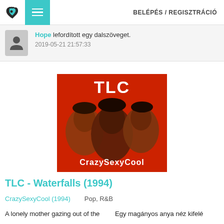BELÉPÉS / REGISZTRÁCIÓ
Hope lefordított egy dalszöveget. 2019-05-21 21:57:33
[Figure (photo): TLC CrazySexyCool album cover — red background with three women and white text TLC and CrazySexyCool]
TLC - Waterfalls (1994)
CrazySexyCool (1994)    Pop, R&B
A lonely mother gazing out of the    Egy magányos anya néz kifelé